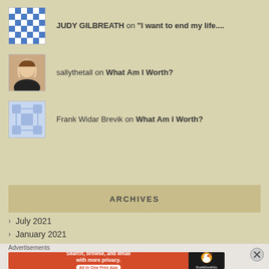JUDY GILBREATH on "I want to end my life....
sallythetall on What Am I Worth?
Frank Widar Brevik on What Am I Worth?
ARCHIVES
July 2021
January 2021
April 2020
Advertisements
Search, browse, and email with more privacy. All in One Free App